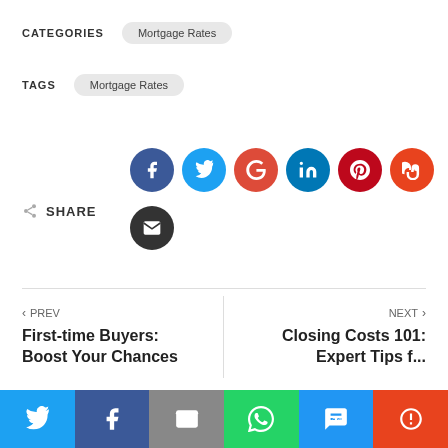CATEGORIES   Mortgage Rates
TAGS   Mortgage Rates
[Figure (infographic): Social share buttons: Facebook, Twitter, Google+, LinkedIn, Pinterest, StumbleUpon circles plus email circle. Share label with icon.]
< PREV
First-time Buyers:
Boost Your Chances
NEXT >
Closing Costs 101:
Expert Tips f...
[Figure (infographic): Bottom sharing bar with Twitter, Facebook, Email, WhatsApp, SMS, and share buttons]